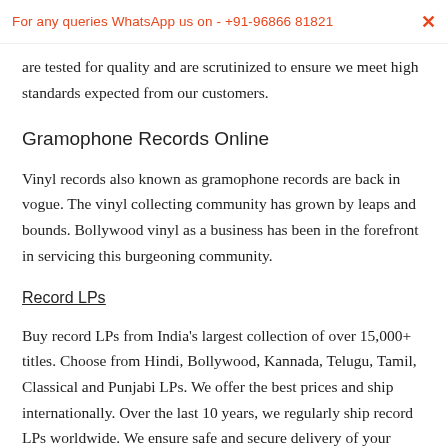For any queries WhatsApp us on - +91-96866 81821
are tested for quality and are scrutinized to ensure we meet high standards expected from our customers.
Gramophone Records Online
Vinyl records also known as gramophone records are back in vogue. The vinyl collecting community has grown by leaps and bounds. Bollywood vinyl as a business has been in the forefront in servicing this burgeoning community.
Record LPs
Buy record LPs from India's largest collection of over 15,000+ titles. Choose from Hindi, Bollywood, Kannada, Telugu, Tamil, Classical and Punjabi LPs. We offer the best prices and ship internationally. Over the last 10 years, we regularly ship record LPs worldwide. We ensure safe and secure delivery of your order.